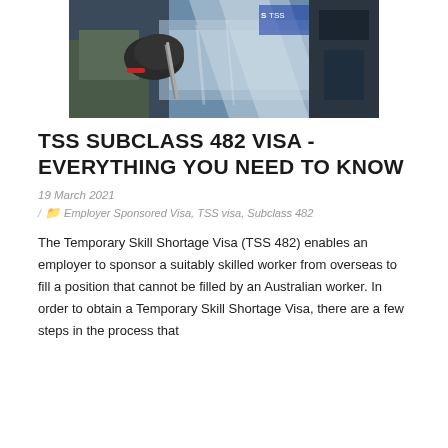[Figure (photo): A worker wearing gloves working with metal sheets in an industrial/manufacturing setting]
TSS SUBCLASS 482 VISA - EVERYTHING YOU NEED TO KNOW
19 March 2021
/ Employer Sponsored Visa, TSS visa, Subclass 482
The Temporary Skill Shortage Visa (TSS 482) enables an employer to sponsor a suitably skilled worker from overseas to fill a position that cannot be filled by an Australian worker. In order to obtain a Temporary Skill Shortage Visa, there are a few steps in the process that